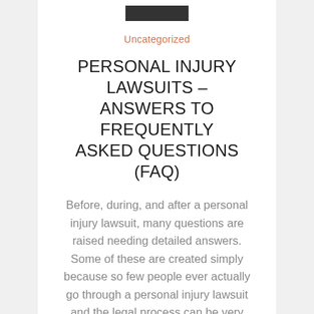[Figure (logo): Dark rectangular logo/header bar at top of page]
Uncategorized
PERSONAL INJURY LAWSUITS – ANSWERS TO FREQUENTLY ASKED QUESTIONS (FAQ)
Before, during, and after a personal injury lawsuit, many questions are raised needing detailed answers. Some of these are created simply because so few people ever actually go through a personal injury lawsuit and the legal process can be very overwhelming. Here are a few of the most frequently asked questions (FAQ) and some simple answers from Sacramento personal injury lawyer. Do I have to go to court? No, not…